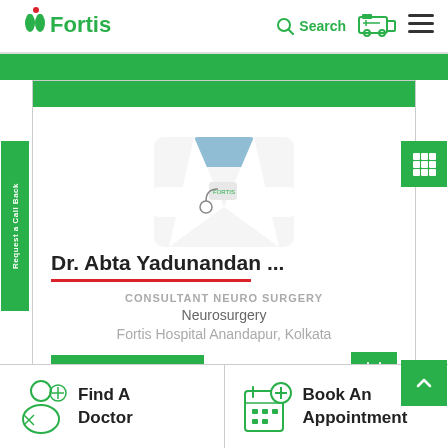[Figure (logo): Fortis Healthcare logo — green figure icon with red dot, green text 'Fortis']
Search
[Figure (illustration): Ambulance icon (green outline)]
[Figure (illustration): Hamburger menu icon (three horizontal lines)]
[Figure (photo): Doctor in white coat with arms crossed, partial view (torso only)]
Dr. Abta Yadunandan ...
CONSULTANT NEURO SURGERY
Neurosurgery
Fortis Hospital Anandapur, Kolkata
View Profile
Request a Call Back
Find A Doctor
Book An Appointment